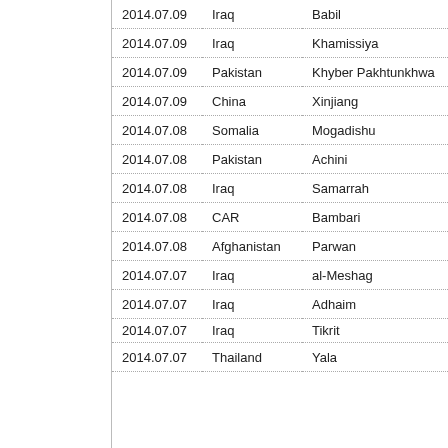| Date | Country | Region |
| --- | --- | --- |
| 2014.07.09 | Iraq | Babil |
| 2014.07.09 | Iraq | Khamissiya |
| 2014.07.09 | Pakistan | Khyber Pakhtunkhwa |
| 2014.07.09 | China | Xinjiang |
| 2014.07.08 | Somalia | Mogadishu |
| 2014.07.08 | Pakistan | Achini |
| 2014.07.08 | Iraq | Samarrah |
| 2014.07.08 | CAR | Bambari |
| 2014.07.08 | Afghanistan | Parwan |
| 2014.07.07 | Iraq | al-Meshag |
| 2014.07.07 | Iraq | Adhaim |
| 2014.07.07 | Iraq | Tikrit |
| 2014.07.07 | Thailand | Yala |